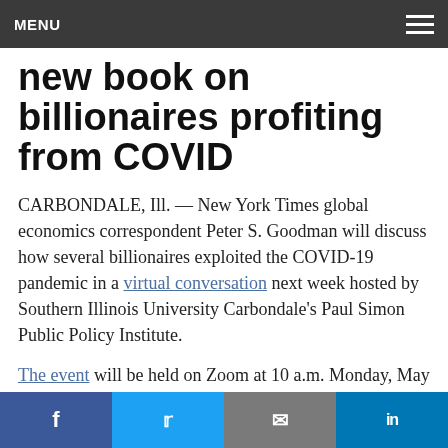MENU
new book on billionaires profiting from COVID
CARBONDALE, Ill. — New York Times global economics correspondent Peter S. Goodman will discuss how several billionaires exploited the COVID-19 pandemic in a virtual conversation next week hosted by Southern Illinois University Carbondale's Paul Simon Public Policy Institute.
The event will be held on Zoom at 10 a.m. Monday, May 23. It is free and open to the public. Registration is required at paulsimoninstitute.org/events.
f  t  email  in